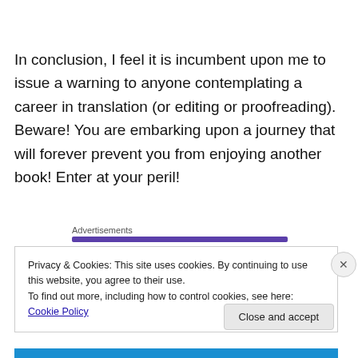In conclusion, I feel it is incumbent upon me to issue a warning to anyone contemplating a career in translation (or editing or proofreading). Beware! You are embarking upon a journey that will forever prevent you from enjoying another book! Enter at your peril!
Advertisements
Privacy & Cookies: This site uses cookies. By continuing to use this website, you agree to their use.
To find out more, including how to control cookies, see here: Cookie Policy
Close and accept